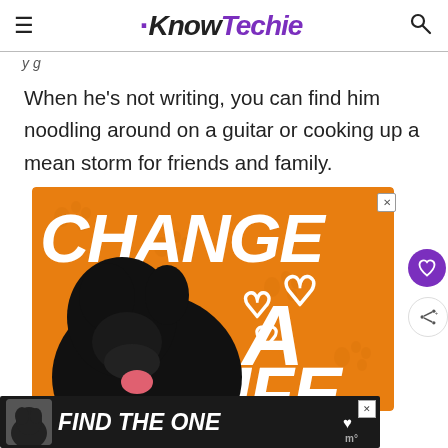KnowTechie
When he's not writing, you can find him noodling around on a guitar or cooking up a mean storm for friends and family.
[Figure (photo): Advertisement banner with orange background showing a black dog and text 'CHANGE A LIFE' with heart icons]
[Figure (photo): Bottom advertisement banner with dark background showing a dog and text 'FIND THE ONE']